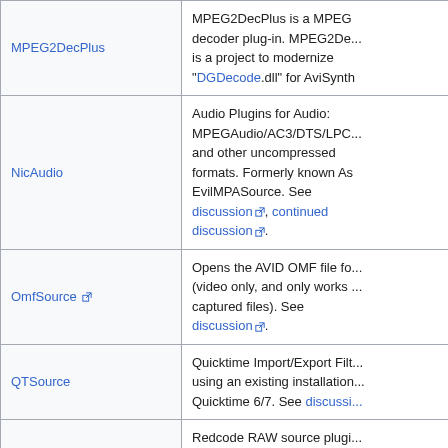| Plugin | Description |
| --- | --- |
| MPEG2DecPlus | MPEG2DecPlus is a MPEG decoder plug-in. MPEG2De... is a project to modernize "DGDecode.dll" for AviSynth |
| NicAudio | Audio Plugins for Audio: MPEGAudio/AC3/DTS/LPC... and other uncompressed formats. Formerly known As EvilMPASource. See discussion, continued discussion. |
| OmfSource | Opens the AVID OMF file fo... (video only, and only works ... captured files). See discussion. |
| QTSource | Quicktime Import/Export Filt... using an existing installation... Quicktime 6/7. See discussi... |
| R3DSource | Redcode RAW source plug... load R3D clips. See discussion. |
|  |  |